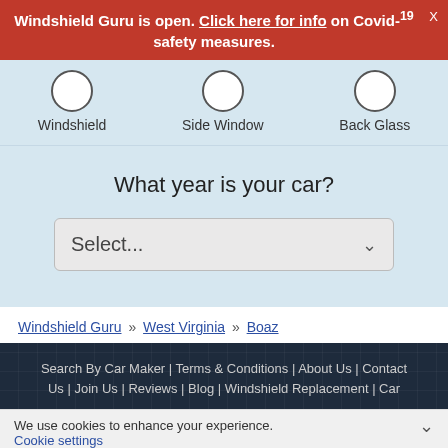Windshield Guru is open. Click here for info on Covid-19 safety measures.
[Figure (screenshot): Three radio button options: Windshield, Side Window, Back Glass]
What year is your car?
Select...
Windshield Guru » West Virginia » Boaz
Search By Car Maker | Terms & Conditions | About Us | Contact Us | Join Us | Reviews | Blog | Windshield Replacement | Car
We use cookies to enhance your experience. Cookie settings